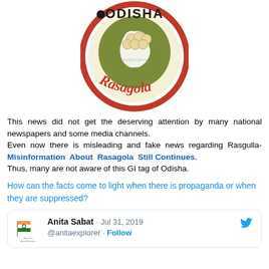[Figure (logo): Odisha Rasagola circular logo with red border, olive green background, map of Odisha with rasgulla sweets on it, text 'ODISHA' at top and 'Rasagola' at bottom]
This news did not get the deserving attention by many national newspapers and some media channels.
Even now there is misleading and fake news regarding Rasgulla- Misinformation About Rasagola Still Continues.
Thus, many are not aware of this GI tag of Odisha.
How can the facts come to light when there is propaganda or when they are suppressed?
Anita Sabat · Jul 31, 2019
@anitaexplorer · Follow